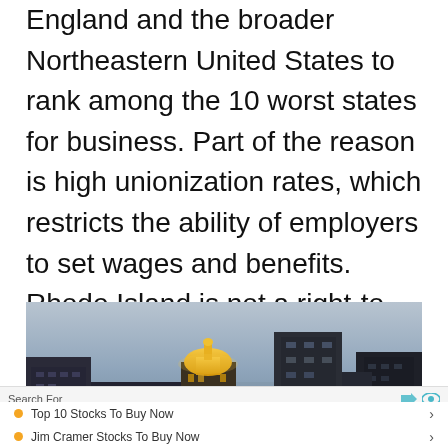England and the broader Northeastern United States to rank among the 10 worst states for business. Part of the reason is high unionization rates, which restricts the ability of employers to set wages and benefits. Rhode Island is not a right-to-work state, and 17.3% of the workforce is in a union, a larger share than in all but four other states.
[Figure (photo): City skyline at dusk with illuminated dome building and skyscrapers against a grey-blue sky]
Search For
Top 10 Stocks To Buy Now
Jim Cramer Stocks To Buy Now